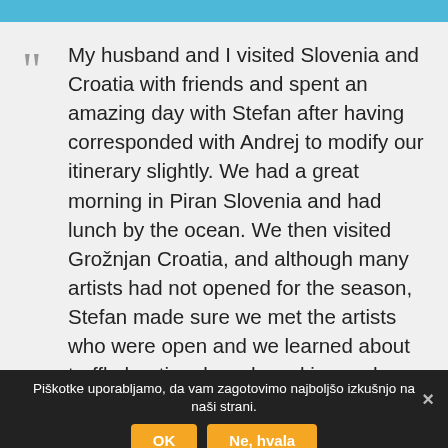My husband and I visited Slovenia and Croatia with friends and spent an amazing day with Stefan after having corresponded with Andrej to modify our itinerary slightly. We had a great morning in Piran Slovenia and had lunch by the ocean. We then visited Grožnjan Croatia, and although many artists had not opened for the season, Stefan made sure we met the artists who were open and we learned about truffle hunting, brandy making and other artisan products. We also met an artist and toured his gallery while he told us about upcoming exhibit in Belgium he was preparing for. We were then taking to Kabola Winery, family run for over a century. We sat on the deck in the warm Istrian sun and sampled (and bought!) several wines. We wrapped up
Piškotke uporabljamo, da vam zagotovimo najboljšo izkušnjo na naši strani.